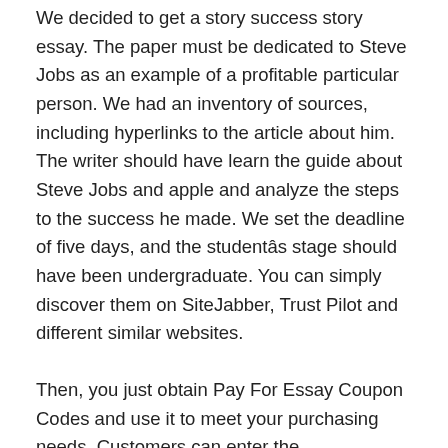We decided to get a story success story essay. The paper must be dedicated to Steve Jobs as an example of a profitable particular person. We had an inventory of sources, including hyperlinks to the article about him. The writer should have learn the guide about Steve Jobs and apple and analyze the steps to the success he made. We set the deadline of five days, and the studentâs stage should have been undergraduate. You can simply discover them on SiteJabber, Trust Pilot and different similar websites.
Then, you just obtain Pay For Essay Coupon Codes and use it to meet your purchasing needs. Customers can enter the HotDeals.com at intervals; pay shut attention to the latest Coupons and deals saving extra. Do not waste good alternatives of take pleasure in discounts at